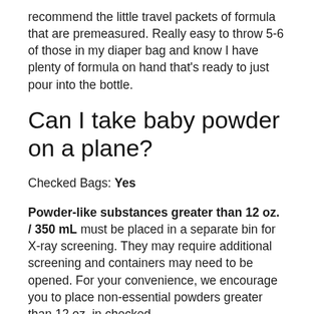recommend the little travel packets of formula that are premeasured. Really easy to throw 5-6 of those in my diaper bag and know I have plenty of formula on hand that's ready to just pour into the bottle.
Can I take baby powder on a plane?
Checked Bags: Yes
Powder-like substances greater than 12 oz. / 350 mL must be placed in a separate bin for X-ray screening. They may require additional screening and containers may need to be opened. For your convenience, we encourage you to place non-essential powders greater than 12 oz. in checked...